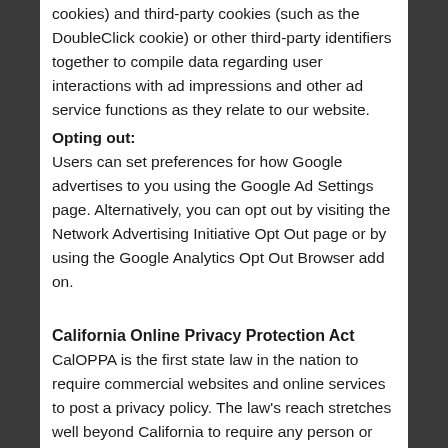cookies) and third-party cookies (such as the DoubleClick cookie) or other third-party identifiers together to compile data regarding user interactions with ad impressions and other ad service functions as they relate to our website.
Opting out:
Users can set preferences for how Google advertises to you using the Google Ad Settings page. Alternatively, you can opt out by visiting the Network Advertising Initiative Opt Out page or by using the Google Analytics Opt Out Browser add on.
California Online Privacy Protection Act
CalOPPA is the first state law in the nation to require commercial websites and online services to post a privacy policy. The law's reach stretches well beyond California to require any person or company in the United States (and conceivably the world) that